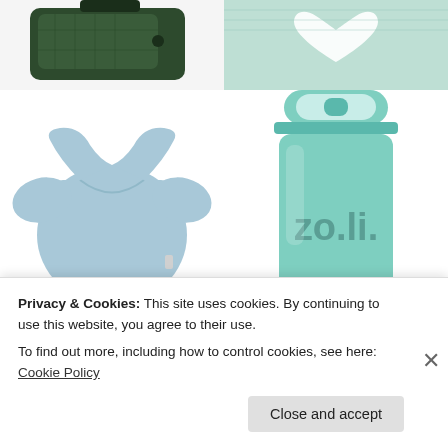[Figure (photo): Top-left: dark green travel organizer/case with mesh pocket and strap on white background]
[Figure (photo): Top-right: mint green knitted item with white heart shape on beige/cream background]
[Figure (photo): Middle-left: light blue baby onesie/bodysuit on white background]
[Figure (photo): Middle-right: mint/teal colored ZoLi branded water bottle with lid on white background]
[Figure (photo): Bottom-left: partially visible gray/beige product images]
[Figure (photo): Bottom-right: continuation of mint teal ZoLi bottle]
Privacy & Cookies: This site uses cookies. By continuing to use this website, you agree to their use.
To find out more, including how to control cookies, see here: Cookie Policy
Close and accept